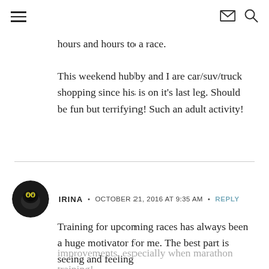Navigation header with hamburger menu, mail icon, and search icon
hours and hours to a race.

This weekend hubby and I are car/suv/truck shopping since his is on it's last leg. Should be fun but terrifying! Such an adult activity!
IRINA · OCTOBER 21, 2016 AT 9:35 AM · REPLY
Training for upcoming races has always been a huge motivator for me. The best part is seeing and feeling improvements, especially when marathon training!